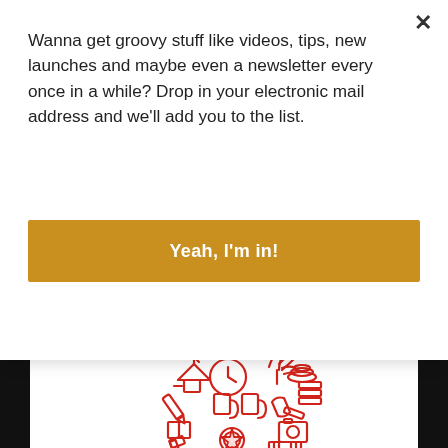Wanna get groovy stuff like videos, tips, new launches and maybe even a newsletter every once in a while? Drop in your electronic mail address and we'll add you to the list.
[Figure (other): Golden/amber colored button with white bold text reading 'Yeah, I'm in!']
[Figure (logo): Wholehearted Organization logo: a red line-art heart shape made of various household and office items (clock, dishes, books, tools, camera, etc.), below which is bold text 'WHOLEHEARTED' and spaced text 'ORGANIZATION']